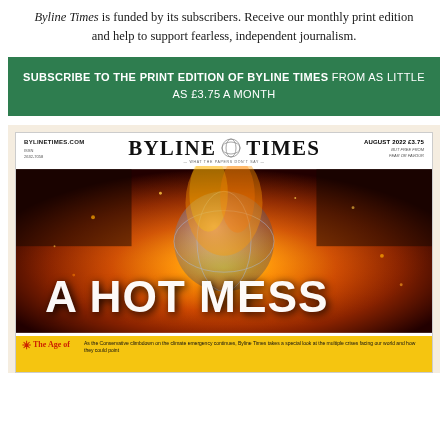Byline Times is funded by its subscribers. Receive our monthly print edition and help to support fearless, independent journalism.
SUBSCRIBE TO THE PRINT EDITION OF BYLINE TIMES FROM AS LITTLE AS £3.75 A MONTH
[Figure (illustration): Byline Times magazine cover for August 2022 showing a globe on fire with the headline 'A HOT MESS' and a subheading about The Age of climate crisis. Price £3.75.]